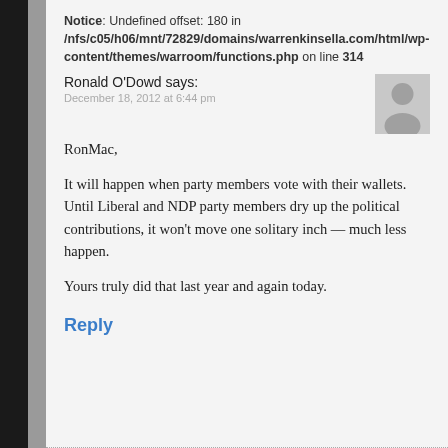Notice: Undefined offset: 180 in /nfs/c05/h06/mnt/72829/domains/warrenkinsella.com/html/wp-content/themes/warroom/functions.php on line 314
Ronald O'Dowd says:
December 18, 2012 at 6:44 pm
RonMac,

It will happen when party members vote with their wallets. Until Liberal and NDP party members dry up the political contributions, it won't move one solitary inch — much less happen.

Yours truly did that last year and again today.
Reply